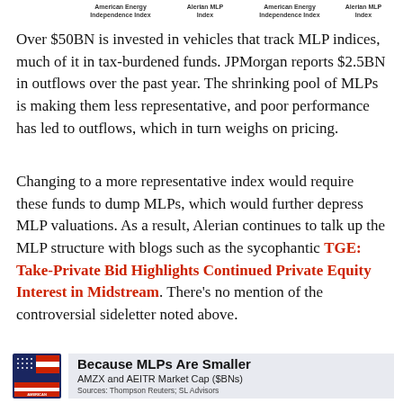American Energy Independence Index   Alerian MLP Index   American Energy Independence Index   Alerian MLP Index
Over $50BN is invested in vehicles that track MLP indices, much of it in tax-burdened funds. JPMorgan reports $2.5BN in outflows over the past year. The shrinking pool of MLPs is making them less representative, and poor performance has led to outflows, which in turn weighs on pricing.
Changing to a more representative index would require these funds to dump MLPs, which would further depress MLP valuations. As a result, Alerian continues to talk up the MLP structure with blogs such as the sycophantic TGE: Take-Private Bid Highlights Continued Private Equity Interest in Midstream. There’s no mention of the controversial sideletter noted above.
[Figure (logo): American Energy Independence logo with US flag colors]
Because MLPs Are Smaller
AMZX and AEITR Market Cap ($BNs)
Sources: Thompson Reuters; SL Advisors